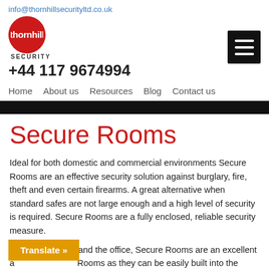info@thornhillsecurityltd.co.uk
[Figure (logo): Thornhill Security logo: red circle with 'thornhill' text and 'SECURITY' below, plus phone number +44 117 9674994]
[Figure (other): Hamburger menu icon (three horizontal white lines on black background)]
Home   About us   Resources   Blog   Contact us
Secure Rooms
Ideal for both domestic and commercial environments Secure Rooms are an effective security solution against burglary, fire, theft and even certain firearms. A great alternative when standard safes are not large enough and a high level of security is required. Secure Rooms are a fully enclosed, reliable security measure.
At both the home and the office, Secure Rooms are an excellent a... Rooms as they can be easily built into the
Translate »